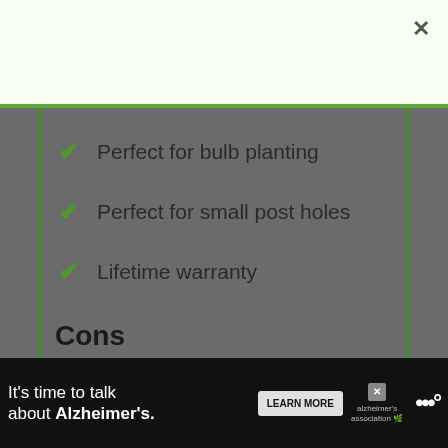[Figure (screenshot): Top white popup/modal bar with close (×) button in upper right corner]
Perfect for bulb planting
Perfect for small post holes
Lifetime warranty
Cons
No tool provided (just drill bit)
[Figure (screenshot): Floating UI overlay on right side: heart/like button (blue circle), share count '3', share button, 'What's Next → Best Retractable...' card with thumbnail]
[Figure (screenshot): Bottom advertisement banner: 'It's time to talk about Alzheimer's.' with LEARN MORE button, Alzheimer's Association logo, and close button]